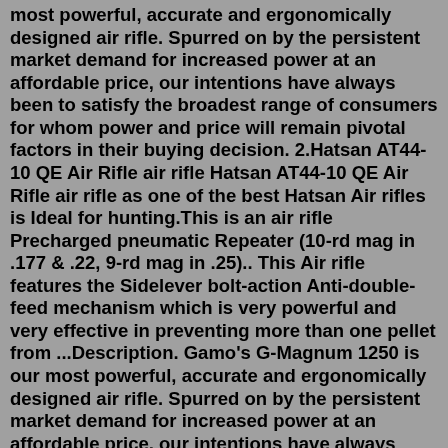most powerful, accurate and ergonomically designed air rifle. Spurred on by the persistent market demand for increased power at an affordable price, our intentions have always been to satisfy the broadest range of consumers for whom power and price will remain pivotal factors in their buying decision. 2.Hatsan AT44-10 QE Air Rifle air rifle Hatsan AT44-10 QE Air Rifle air rifle as one of the best Hatsan Air rifles is Ideal for hunting.This is an air rifle Precharged pneumatic Repeater (10-rd mag in .177 & .22, 9-rd mag in .25).. This Air rifle features the Sidelever bolt-action Anti-double-feed mechanism which is very powerful and very effective in preventing more than one pellet from ...Description. Gamo's G-Magnum 1250 is our most powerful, accurate and ergonomically designed air rifle. Spurred on by the persistent market demand for increased power at an affordable price, our intentions have always been to satisfy the broadest range of consumers for whom power and price will remain pivotal factors in their buying decision. The Gamo